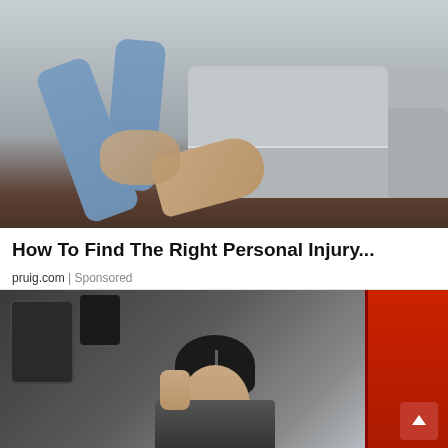[Figure (photo): Person sitting on a grey sectional sofa, holding their ankle/foot with both hands, suggesting pain or injury. The person is wearing grey pants and a striped shirt. Dark wood floor visible at bottom.]
How To Find The Right Personal Injury...
pruig.com | Sponsored
[Figure (photo): A woman with dark hair pulled back, sitting in or near a vehicle with red door frame visible. She appears to be looking upward/smiling. Car interior details and a blue background visible through the window.]